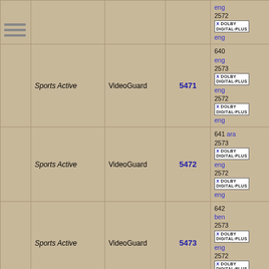|  | Channel | Encryption | SID | Audio | Date |
| --- | --- | --- | --- | --- | --- |
| [icon] |  |  |  | eng
2572
[Dolby]
eng |  |
|  | Sports Active | VideoGuard | 5471 | 640
eng
2573
[Dolby]
eng
2572
[Dolby]
eng | 2022-05-05 |
|  | Sports Active | VideoGuard | 5472 | 641 ara
2573
[Dolby]
eng
2572
[Dolby]
eng | 2022-05-05 |
|  | Sports Active | VideoGuard | 5473 | 642
ben
2573
[Dolby]
eng
2572
[Dolby]
eng | 2022-04-09 |
|  | Sports Active | VideoGuard | 5474 | 643 bul
2573
[Dolby]
eng
2572
[Dolby] | 2022-04-23 |